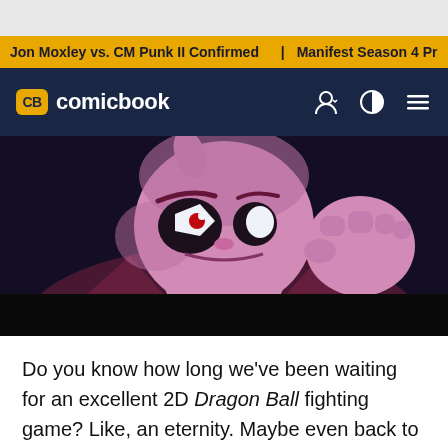Jon Moxley vs. CM Punk II Confirmed | Manifest Season 4 Pr
[Figure (screenshot): ComicBook.com navigation bar with yellow CB logo badge and white comicbook text on dark navy background, with user icon, light/dark toggle, and hamburger menu on the right]
[Figure (illustration): Anime-style illustration of Majin Buu from Dragon Ball FighterZ, close-up on face and raised fist, pink skin, angry expression, dark maroon jacket, blue lighting accents, black lower bar]
Do you know how long we've been waiting for an excellent 2D Dragon Ball fighting game? Like, an eternity. Maybe even back to the SNES days. But later this month, we're finally going to get one with Dragon Ball FighterZ, Arc System Works' incredibly impressive 2D brawler. Filled with